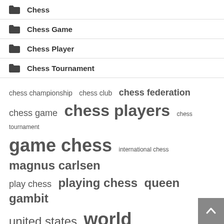Chess
Chess Game
Chess Player
Chess Tournament
chess championship  chess club  chess federation  chess game  chess players  chess tournament  game chess  international chess  magnus carlsen  play chess  playing chess  queen gambit  united states  world champion  world chess